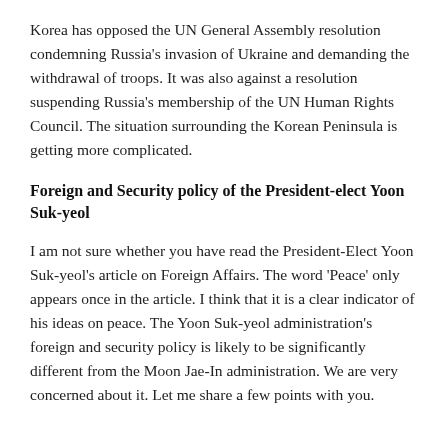Korea has opposed the UN General Assembly resolution condemning Russia's invasion of Ukraine and demanding the withdrawal of troops. It was also against a resolution suspending Russia's membership of the UN Human Rights Council. The situation surrounding the Korean Peninsula is getting more complicated.
Foreign and Security policy of the President-elect Yoon Suk-yeol
I am not sure whether you have read the President-Elect Yoon Suk-yeol's article on Foreign Affairs. The word 'Peace' only appears once in the article. I think that it is a clear indicator of his ideas on peace. The Yoon Suk-yeol administration's foreign and security policy is likely to be significantly different from the Moon Jae-In administration. We are very concerned about it. Let me share a few points with you.